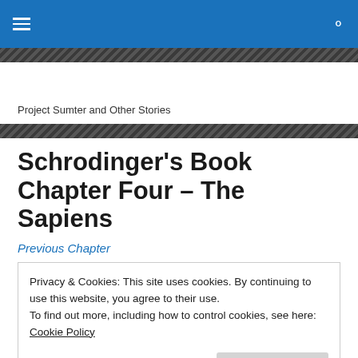Project Sumter and Other Stories
Schrodinger's Book Chapter Four – The Sapiens
Previous Chapter
Privacy & Cookies: This site uses cookies. By continuing to use this website, you agree to their use.
To find out more, including how to control cookies, see here: Cookie Policy
Close and accept
the paper versions of books.